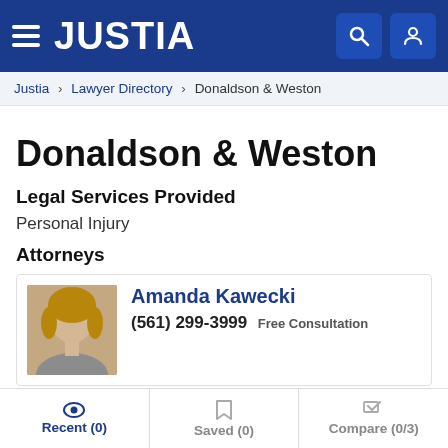JUSTIA
Justia › Lawyer Directory › Donaldson & Weston
Donaldson & Weston
Legal Services Provided
Personal Injury
Attorneys
Amanda Kawecki
(561) 299-3999 Free Consultation
Recent (0)   Saved (0)   Compare (0/3)